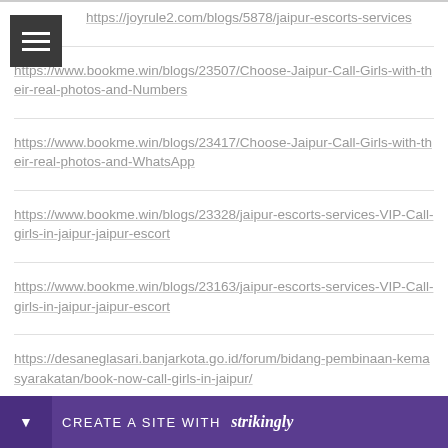https://joyrule2.com/blogs/5878/jaipur-escorts-services
https://www.bookme.win/blogs/23507/Choose-Jaipur-Call-Girls-with-their-real-photos-and-Numbers
https://www.bookme.win/blogs/23417/Choose-Jaipur-Call-Girls-with-their-real-photos-and-WhatsApp
https://www.bookme.win/blogs/23328/jaipur-escorts-services-VIP-Call-girls-in-jaipur-jaipur-escort
https://www.bookme.win/blogs/23163/jaipur-escorts-services-VIP-Call-girls-in-jaipur-jaipur-escort
https://desaneglasari.banjarkota.go.id/forum/bidang-pembinaan-kemasyarakatan/book-now-call-girls-in-jaipur/
https://...ur-call-gi...
CREATE A SITE WITH strikingly